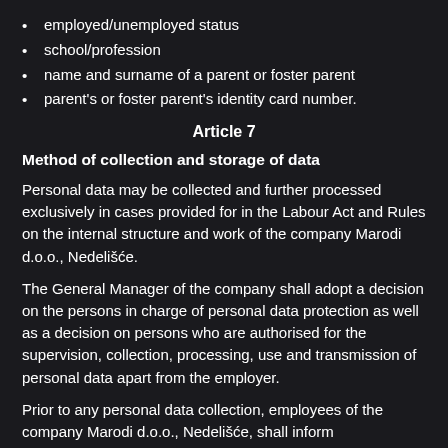employed/unemployed status
school/profession
name and surname of a parent or foster parent
parent's or foster parent's identity card number.
Article 7
Method of collection and storage of data
Personal data may be collected and further processed exclusively in cases provided for in the Labour Act and Rules on the internal structure and work of the company Marodi d.o.o., Nedelišće.
The General Manager of the company shall adopt a decision on the persons in charge of personal data protection as well as a decision on persons who are authorised for the supervision, collection, processing, use and transmission of personal data apart from the employer.
Prior to any personal data collection, employees of the company Marodi d.o.o., Nedelišće, shall inform